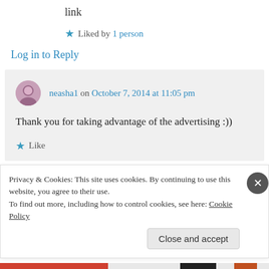link
★ Liked by 1 person
Log in to Reply
neasha1 on October 7, 2014 at 11:05 pm
Thank you for taking advantage of the advertising :))
★ Like
Privacy & Cookies: This site uses cookies. By continuing to use this website, you agree to their use.
To find out more, including how to control cookies, see here: Cookie Policy
Close and accept